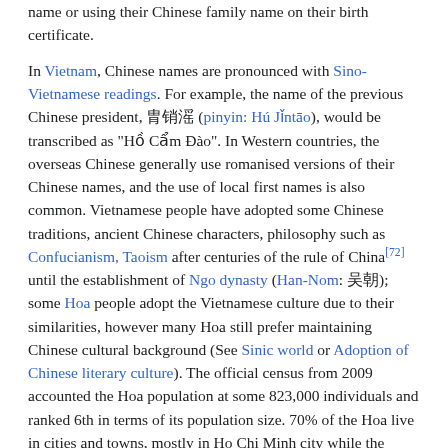name or using their Chinese family name on their birth certificate.
In Vietnam, Chinese names are pronounced with Sino-Vietnamese readings. For example, the name of the previous Chinese president, 胡锦涛 (pinyin: Hú Jǐntāo), would be transcribed as "Hồ Cẩm Đào". In Western countries, the overseas Chinese generally use romanised versions of their Chinese names, and the use of local first names is also common. Vietnamese people have adopted some Chinese traditions, ancient Chinese characters, philosophy such as Confucianism, Taoism after centuries of the rule of China[72] until the establishment of Ngo dynasty (Han-Nom: 吳朝); some Hoa people adopt the Vietnamese culture due to their similarities, however many Hoa still prefer maintaining Chinese cultural background (See Sinic world or Adoption of Chinese literary culture). The official census from 2009 accounted the Hoa population at some 823,000 individuals and ranked 6th in terms of its population size. 70% of the Hoa live in cities and towns, mostly in Ho Chi Minh city while the remainder live in the countryside in the southern provinces.[15]
On the other hand, in Malaysia, Singapore, Indonesia and Brunei, overseas Chinese have maintained a distinct communal identity.